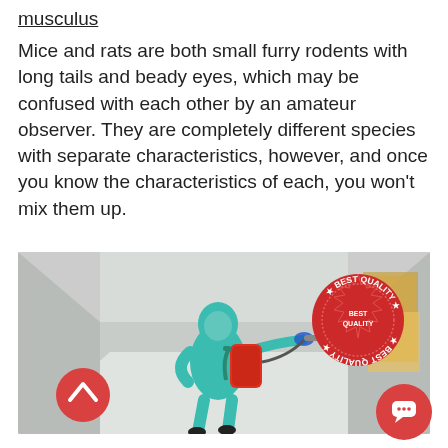musculus
Mice and rats are both small furry rodents with long tails and beady eyes, which may be confused with each other by an amateur observer. They are completely different species with separate characteristics, however, and once you know the characteristics of each, you won't mix them up.
[Figure (photo): Person in full teal hazmat/PPE suit carrying a red backpack sprayer, walking down a corridor with white walls and shiny floor. A red 'BEST QUALITY' stamp overlay appears in the upper right of the image. A red scroll-up arrow button is overlaid at lower left, and a red chat bubble button at lower right of the page.]